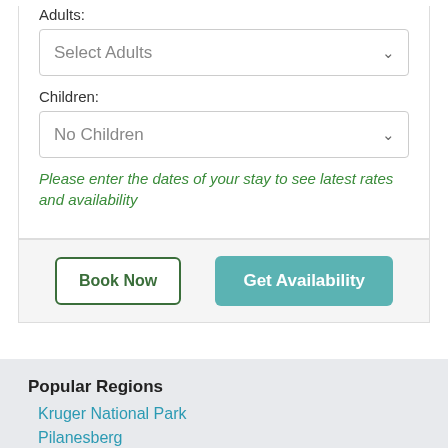Adults:
Select Adults
Children:
No Children
Please enter the dates of your stay to see latest rates and availability
Book Now
Get Availability
Popular Regions
Kruger National Park
Pilanesberg
Hluhluwe (KZN)